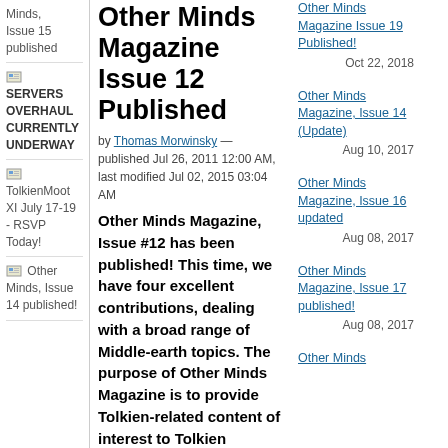Minds, Issue 15 published
SERVERS OVERHAUL CURRENTLY UNDERWAY
TolkienMoot XI July 17-19 - RSVP Today!
Other Minds, Issue 14 published!
Other Minds Magazine Issue 12 Published
by Thomas Morwinsky — published Jul 26, 2011 12:00 AM, last modified Jul 02, 2015 03:04 AM
Other Minds Magazine, Issue #12 has been published! This time, we have four excellent contributions, dealing with a broad range of Middle-earth topics. The purpose of Other Minds Magazine is to provide Tolkien-related content of interest to Tolkien enthusiasts of all kinds and more specifically, information usable by those who love to use role playing games
Other Minds Magazine Issue 19 Published!
Oct 22, 2018
Other Minds Magazine, Issue 14 (Update)
Aug 10, 2017
Other Minds Magazine, Issue 16 updated
Aug 08, 2017
Other Minds Magazine, Issue 17 published!
Aug 08, 2017
Other Minds